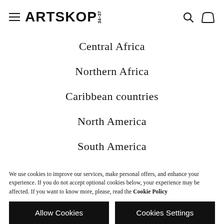ARTSKOP 34-37
Central Africa
Northern Africa
Caribbean countries
North America
South America
We use cookies to improve our services, make personal offers, and enhance your experience. If you do not accept optional cookies below, your experience may be affected. If you want to know more, please, read the Cookie Policy
Allow Cookies
Cookies Settings